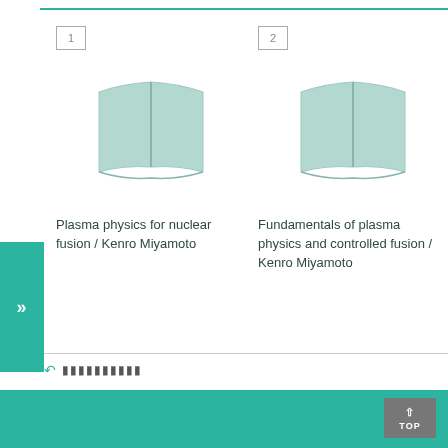[Figure (illustration): Book cover placeholder icon for item 1 - open book in teal/mint color]
Plasma physics for nuclear fusion / Kenro Miyamoto
[Figure (illustration): Book cover placeholder icon for item 2 - open book in teal/mint color]
Fundamentals of plasma physics and controlled fusion / Kenro Miyamoto
TOP